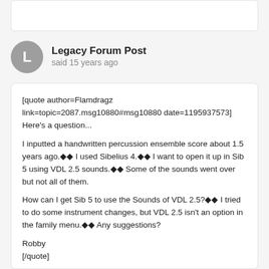[Figure (other): Top card partial view, white rounded rectangle]
Legacy Forum Post
said 15 years ago
[quote author=Flamdragz link=topic=2087.msg10880#msg10880 date=1195937573]
Here's a question...

I inputted a handwritten percussion ensemble score about 1.5 years ago.◆◆ I used Sibelius 4.◆◆ I want to open it up in Sib 5 using VDL 2.5 sounds.◆◆ Some of the sounds went over but not all of them.

How can I get Sib 5 to use the Sounds of VDL 2.5?◆◆ I tried to do some instrument changes, but VDL 2.5 isn't an option in the family menu.◆◆ Any suggestions?

Robby
[/quote]

Robby - I don't have a quick answer for you just yet, but what you're